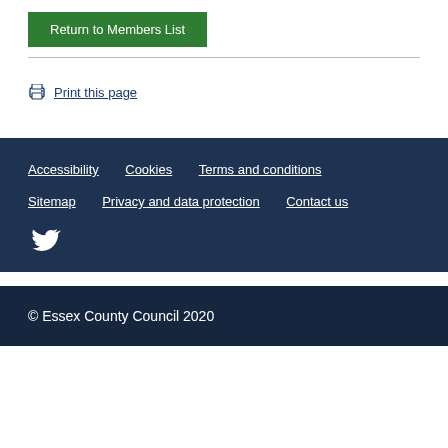Return to Members List
Print this page
Accessibility | Cookies | Terms and conditions | Sitemap | Privacy and data protection | Contact us
© Essex County Council 2020